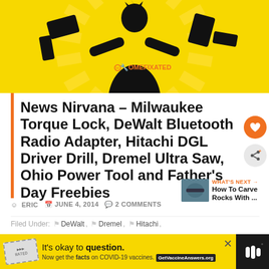[Figure (illustration): HomeFixated website header banner showing a silhouette of a person with tools (drill, wrench) against a yellow sunburst background, with the HomeFixated logo on the figure's back]
News Nirvana – Milwaukee Torque Lock, DeWalt Bluetooth Radio Adapter, Hitachi DGL Driver Drill, Dremel Ultra Saw, Ohio Power Tool and Father's Day Freebies
ERIC   JUNE 4, 2014   2 COMMENTS
WHAT'S NEXT → How To Carve Rocks With ...
Filed Under:  DeWalt,  Dremel,  Hitachi,
[Figure (infographic): COVID-19 advertisement banner: It's okay to question. Now get the facts on COVID-19 vaccines. GetVaccineAnswers.org]